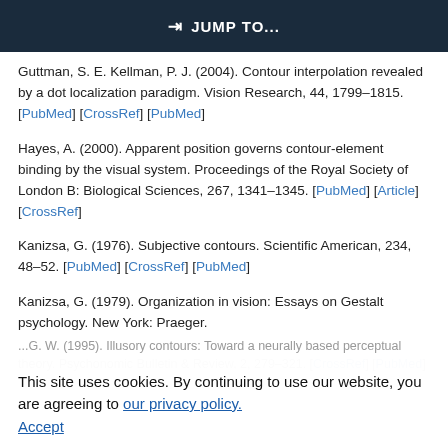JUMP TO...
Guttman, S. E. Kellman, P. J. (2004). Contour interpolation revealed by a dot localization paradigm. Vision Research, 44, 1799–1815. [PubMed] [CrossRef] [PubMed]
Hayes, A. (2000). Apparent position governs contour-element binding by the visual system. Proceedings of the Royal Society of London B: Biological Sciences, 267, 1341–1345. [PubMed] [Article] [CrossRef]
Kanizsa, G. (1976). Subjective contours. Scientific American, 234, 48–52. [PubMed] [CrossRef] [PubMed]
Kanizsa, G. (1979). Organization in vision: Essays on Gestalt psychology. New York: Praeger.
...G. W. (1995). Illusory contours: Toward a neurally based perceptual theory. Psychonomic Bulletin & Review, 2, 279–321. [CrossRef] [PubMed]
This site uses cookies. By continuing to use our website, you are agreeing to our privacy policy. Accept